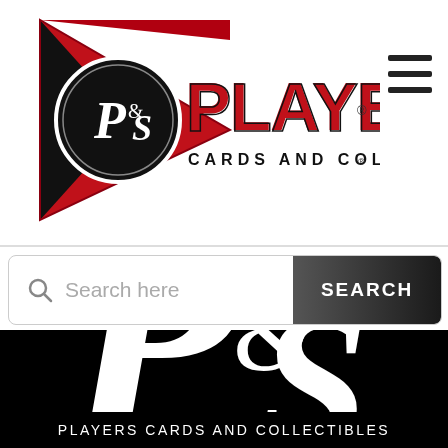[Figure (logo): Players Cards and Collectibles logo with red pennant shape, P&S circular badge, bold PLAYERS text, and CARDS AND COLLECTIBLES subtitle]
[Figure (other): Hamburger menu icon (three horizontal lines)]
[Figure (other): Search bar with magnifying glass icon, placeholder text 'Search here', and dark SEARCH button]
[Figure (logo): Large P&S circular logo in white on black background]
PLAYERS CARDS AND COLLECTIBLES